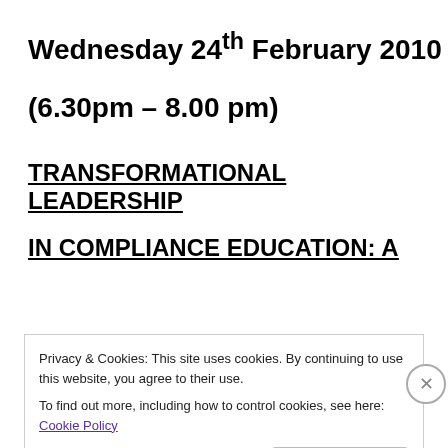Wednesday 24th February 2010
(6.30pm – 8.00 pm)
TRANSFORMATIONAL LEADERSHIP
IN COMPLIANCE EDUCATION: A
Privacy & Cookies: This site uses cookies. By continuing to use this website, you agree to their use.
To find out more, including how to control cookies, see here: Cookie Policy
Close and accept